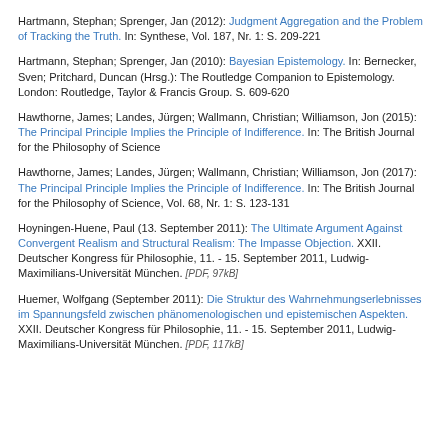Hartmann, Stephan; Sprenger, Jan (2012): Judgment Aggregation and the Problem of Tracking the Truth. In: Synthese, Vol. 187, Nr. 1: S. 209-221
Hartmann, Stephan; Sprenger, Jan (2010): Bayesian Epistemology. In: Bernecker, Sven; Pritchard, Duncan (Hrsg.): The Routledge Companion to Epistemology. London: Routledge, Taylor & Francis Group. S. 609-620
Hawthorne, James; Landes, Jürgen; Wallmann, Christian; Williamson, Jon (2015): The Principal Principle Implies the Principle of Indifference. In: The British Journal for the Philosophy of Science
Hawthorne, James; Landes, Jürgen; Wallmann, Christian; Williamson, Jon (2017): The Principal Principle Implies the Principle of Indifference. In: The British Journal for the Philosophy of Science, Vol. 68, Nr. 1: S. 123-131
Hoyningen-Huene, Paul (13. September 2011): The Ultimate Argument Against Convergent Realism and Structural Realism: The Impasse Objection. XXII. Deutscher Kongress für Philosophie, 11. - 15. September 2011, Ludwig-Maximilians-Universität München. [PDF, 97kB]
Huemer, Wolfgang (September 2011): Die Struktur des Wahrnehmungserlebnisses im Spannungsfeld zwischen phänomenologischen und epistemischen Aspekten. XXII. Deutscher Kongress für Philosophie, 11. - 15. September 2011, Ludwig-Maximilians-Universität München. [PDF, 117kB]